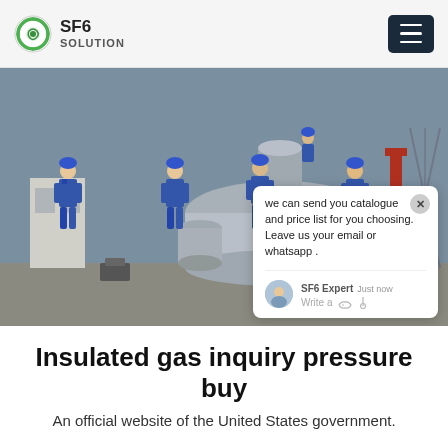SF6 SOLUTION
[Figure (photo): Workers in blue hard hats and jumpsuits working around large industrial SF6 gas insulated switchgear equipment at an outdoor substation. A chat widget overlay is visible in the upper right of the image saying: 'we can send you catalogue and price list for you choosing. Leave us your email or whatsapp .' with SF6 Expert, just now, Write a [thumbs up] [paperclip] icons.]
Insulated gas inquiry pressure buy
An official website of the United States government.